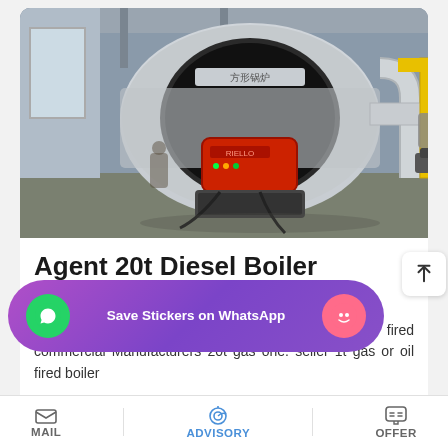[Figure (photo): Industrial diesel/gas boiler unit in a factory setting — large cylindrical horizontal boiler with a red burner, silver insulated pipes, yellow gas supply pipes, and control wiring, installed in a warehouse.]
Agent 20t Diesel Boiler Commercial
20t Oil Boiler Plant Agent Ukraine. Price 8 Ton oil fired commercial Manufacturers 20t gas one. seller 1t gas or oil fired boiler